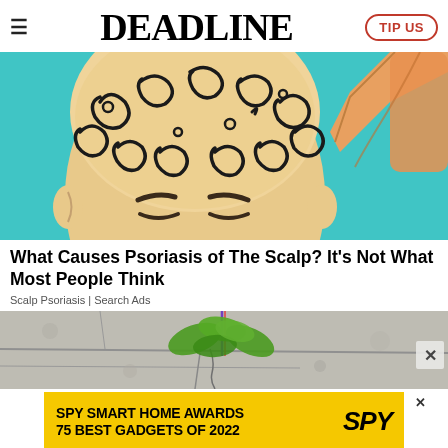DEADLINE
[Figure (illustration): Illustrated bald person from above/side view with decorative swirl patterns on scalp, teal/turquoise background, arm reaching up to touch head]
What Causes Psoriasis of The Scalp? It's Not What Most People Think
Scalp Psoriasis | Search Ads
[Figure (photo): Photo of green plant/clover growing through concrete crack on grey stone surface]
[Figure (infographic): Advertisement banner: SPY SMART HOME AWARDS 75 BEST GADGETS OF 2022 with SPY logo on yellow background]